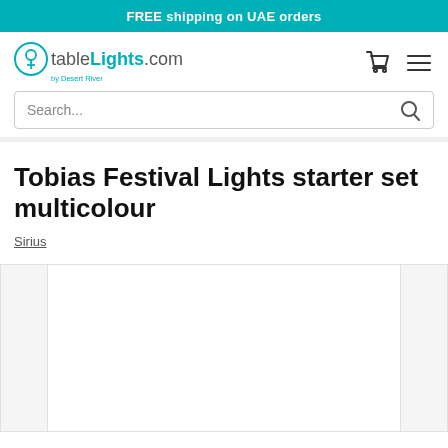FREE shipping on UAE orders
[Figure (logo): tableLights.com by Desert River logo with teal circular icon]
Search...
Tobias Festival Lights starter set multicolour
Sirius
[Figure (photo): Product image area — large white center panel with narrow grey side panels]